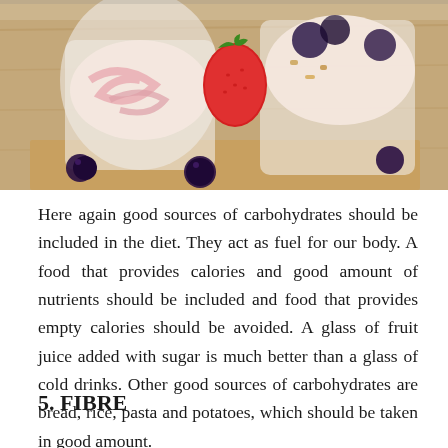[Figure (photo): A food photo showing two glass cups filled with yogurt parfait topped with strawberries and blackberries, sitting on a wooden board with fresh berries scattered around.]
Here again good sources of carbohydrates should be included in the diet. They act as fuel for our body. A food that provides calories and good amount of nutrients should be included and food that provides empty calories should be avoided. A glass of fruit juice added with sugar is much better than a glass of cold drinks. Other good sources of carbohydrates are bread, rice, pasta and potatoes, which should be taken in good amount.
5. FIBRE